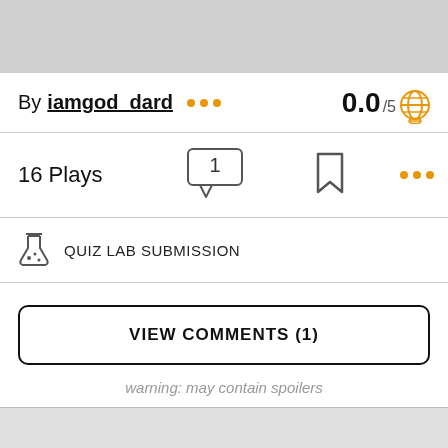By iamgod_dard ••• 0.0 /5
16 Plays
QUIZ LAB SUBMISSION
VIEW COMMENTS (1)
warning: may contain spoilers